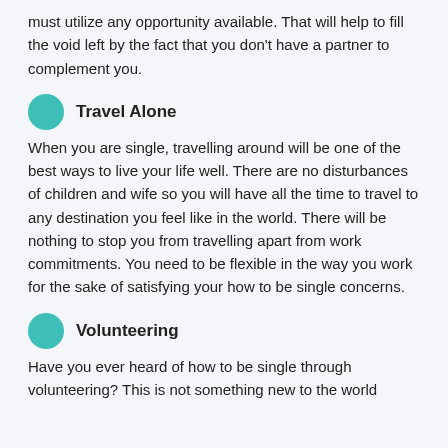must utilize any opportunity available. That will help to fill the void left by the fact that you don't have a partner to complement you.
Travel Alone
When you are single, travelling around will be one of the best ways to live your life well. There are no disturbances of children and wife so you will have all the time to travel to any destination you feel like in the world. There will be nothing to stop you from travelling apart from work commitments. You need to be flexible in the way you work for the sake of satisfying your how to be single concerns.
Volunteering
Have you ever heard of how to be single through volunteering? This is not something new to the world